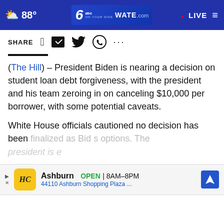88° WATE.com LIVE
SHARE
(The Hill) – President Biden is nearing a decision on student loan debt forgiveness, with the president and his team zeroing in on canceling $10,000 per borrower, with some potential caveats.
White House officials cautioned no decision has been finalized as Biden weighs his options. The president is ex...
[Figure (screenshot): CONTINUE READING button overlay with close X button]
[Figure (screenshot): Advertisement banner for Ashburn shopping location showing HC logo, OPEN 8AM-8PM, 44110 Ashburn Shopping Plaza...]